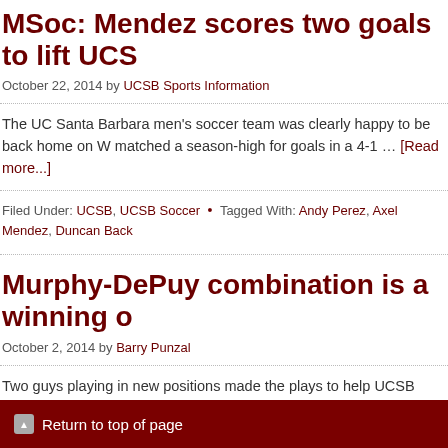MSoc: Mendez scores two goals to lift UCS
October 22, 2014 by UCSB Sports Information
The UC Santa Barbara men's soccer team was clearly happy to be back home on W matched a season-high for goals in a 4-1 … [Read more...]
Filed Under: UCSB, UCSB Soccer • Tagged With: Andy Perez, Axel Mendez, Duncan Back
Murphy-DePuy combination is a winning o
October 2, 2014 by Barry Punzal
Two guys playing in new positions made the plays to help UCSB start its Big West ca night. Drew Murphy delivered … [Read more...]
Filed Under: News, Soccer, UCSB, UCSB Soccer • Tagged With: Drew Murphy, Duncan Ba DePuy, Tim Vom Steeg, UCSB men's soccer
Return to top of page